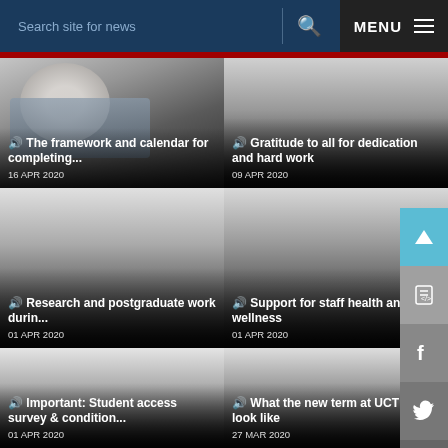Search site for news | MENU
[Figure (photo): Woman with short grey hair and glasses sitting in front of dark chairs]
🔊 The framework and calendar for completing... 16 APR 2020
[Figure (photo): Dark gradient placeholder image]
🔊 Gratitude to all for dedication and hard work 09 APR 2020
[Figure (photo): Dark gradient placeholder image]
🔊 Research and postgraduate work durin... 01 APR 2020
[Figure (photo): Dark gradient placeholder image]
🔊 Support for staff health and wellness 01 APR 2020
[Figure (photo): Dark gradient placeholder image]
🔊 Important: Student access survey & condition... 01 APR 2020
[Figure (photo): Dark gradient placeholder image]
🔊 What the new term at UCT will look like 27 MAR 2020